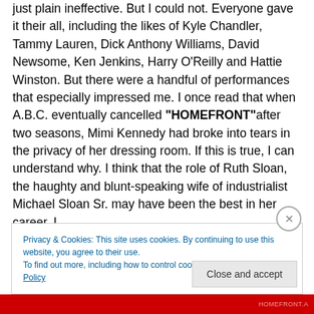just plain ineffective. But I could not. Everyone gave it their all, including the likes of Kyle Chandler, Tammy Lauren, Dick Anthony Williams, David Newsome, Ken Jenkins, Harry O'Reilly and Hattie Winston. But there were a handful of performances that especially impressed me. I once read that when A.B.C. eventually cancelled "HOMEFRONT" after two seasons, Mimi Kennedy had broke into tears in the privacy of her dressing room. If this is true, I can understand why. I think that the role of Ruth Sloan, the haughty and blunt-speaking wife of industrialist Michael Sloan Sr. may have been the best in her career. I
Privacy & Cookies: This site uses cookies. By continuing to use this website, you agree to their use.
To find out more, including how to control cookies, see here: Cookie Policy